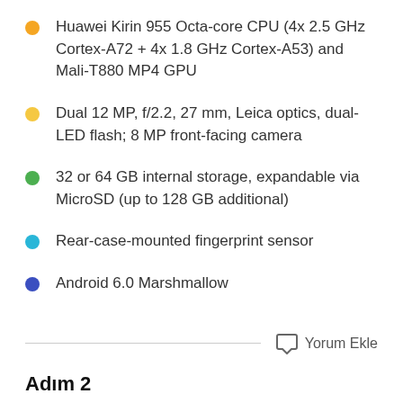Huawei Kirin 955 Octa-core CPU (4x 2.5 GHz Cortex-A72 + 4x 1.8 GHz Cortex-A53) and Mali-T880 MP4 GPU
Dual 12 MP, f/2.2, 27 mm, Leica optics, dual-LED flash; 8 MP front-facing camera
32 or 64 GB internal storage, expandable via MicroSD (up to 128 GB additional)
Rear-case-mounted fingerprint sensor
Android 6.0 Marshmallow
Yorum Ekle
Adım 2